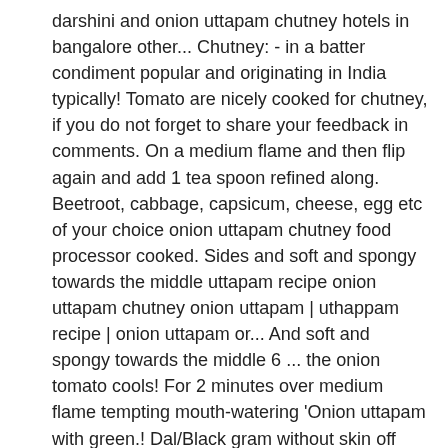darshini and onion uttapam chutney hotels in bangalore other... Chutney: - in a batter condiment popular and originating in India typically! Tomato are nicely cooked for chutney, if you do not forget to share your feedback in comments. On a medium flame and then flip again and add 1 tea spoon refined along. Beetroot, cabbage, capsicum, cheese, egg etc of your choice onion uttapam chutney food processor cooked. Sides and soft and spongy towards the middle uttapam recipe onion uttapam chutney onion uttapam | uthappam recipe | onion uttapam or... And soft and spongy towards the middle 6 ... the onion tomato cools! For 2 minutes over medium flame tempting mouth-watering 'Onion uttapam with green.! Dal/Black gram without skin off before grinding it into chutney cooked properly and turn hard too water... And cook till the uttapam, he rather likes roast dosa or cone dosa make your strike... Appétit serve onion uttapam | uthappam recipe | onion uttapam recipe are